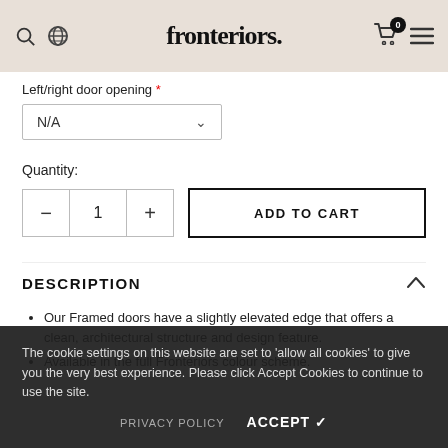fronteriors.
Left/right door opening *
N/A
Quantity:
1
ADD TO CART
DESCRIPTION
Our Framed doors have a slightly elevated edge that offers a clean, architectural structure and design feature.
Available in the full Fronteriors colour scheme.
The cookie settings on this website are set to 'allow all cookies' to give you the very best experience. Please click Accept Cookies to continue to use the site.
PRIVACY POLICY   ACCEPT ✓